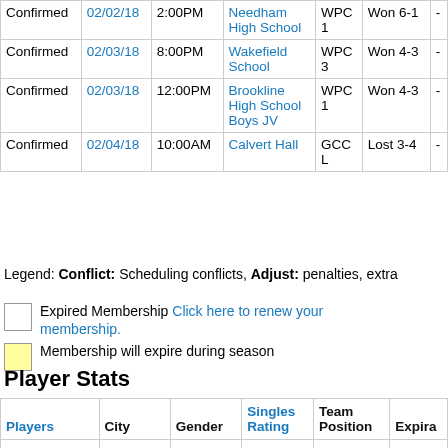| Status | Date | Time | Opponent | Location | Result |  |
| --- | --- | --- | --- | --- | --- | --- |
| Confirmed | 02/02/18 | 2:00PM | Needham High School | WPC 1 | Won 6-1 | - |
| Confirmed | 02/03/18 | 8:00PM | Wakefield School | WPC 3 | Won 4-3 | - |
| Confirmed | 02/03/18 | 12:00PM | Brookline High School Boys JV | WPC 1 | Won 4-3 | - |
| Confirmed | 02/04/18 | 10:00AM | Calvert Hall | GCC L | Lost 3-4 | - |
Legend: Conflict: Scheduling conflicts, Adjust: penalties, extra
Expired Membership Click here to renew your membership.
Membership will expire during season
Player Stats
| Players | City | Gender | Singles Rating | Team Position | Expira |
| --- | --- | --- | --- | --- | --- |